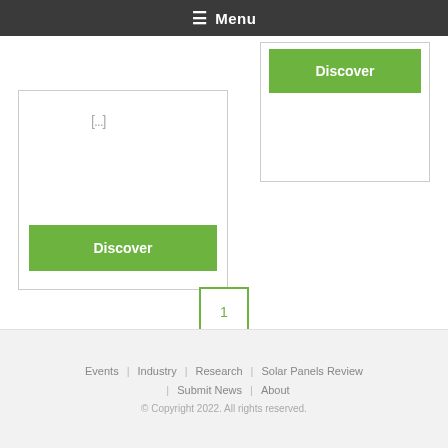☰ Menu
[Figure (screenshot): Two partially visible cards with green Discover buttons on white background]
1
2
Next
Events | Industry | Research | Solar Panels Review | Submit News | About
© Copyright 2022. All rights reserved.